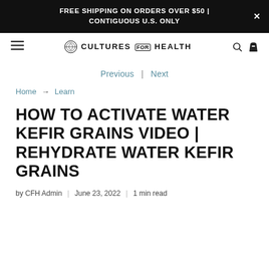FREE SHIPPING ON ORDERS OVER $50 | CONTIGUOUS U.S. ONLY
[Figure (logo): Cultures for Health logo with circular emblem and text]
Previous | Next
Home → Learn
HOW TO ACTIVATE WATER KEFIR GRAINS VIDEO | REHYDRATE WATER KEFIR GRAINS
by CFH Admin | June 23, 2022 | 1 min read